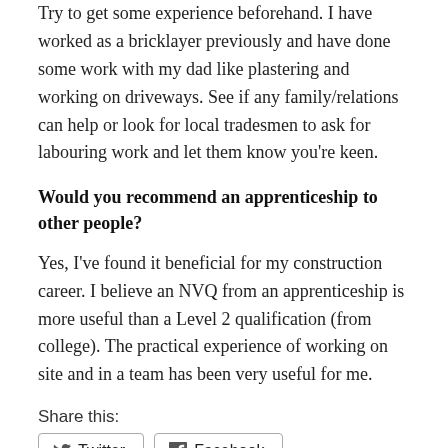Try to get some experience beforehand. I have worked as a bricklayer previously and have done some work with my dad like plastering and working on driveways. See if any family/relations can help or look for local tradesmen to ask for labouring work and let them know you're keen.
Would you recommend an apprenticeship to other people?
Yes, I've found it beneficial for my construction career. I believe an NVQ from an apprenticeship is more useful than a Level 2 qualification (from college). The practical experience of working on site and in a team has been very useful for me.
Share this:
Like this: